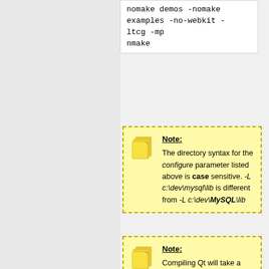nomake demos -nomake examples -no-webkit -ltcg -mp
nmake
Note: The directory syntax for the configure parameter listed above is case sensitive. -L c:\dev\mysql\lib is different from -L c:\dev\MySQL\lib
Note: Compiling Qt will take a while. So if